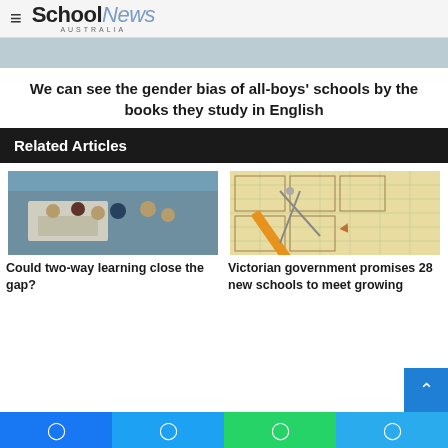SchoolNews AUSTRALIA
[Figure (photo): Hero image — blurred classroom/students photo at top of article]
We can see the gender bias of all-boys' schools by the books they study in English
Related Articles
[Figure (photo): Classroom with children sitting around a table with a teacher]
Could two-way learning close the gap?
[Figure (photo): Blueprint/floor plan drawings with a pencil and compass on top]
Victorian government promises 28 new schools to meet growing